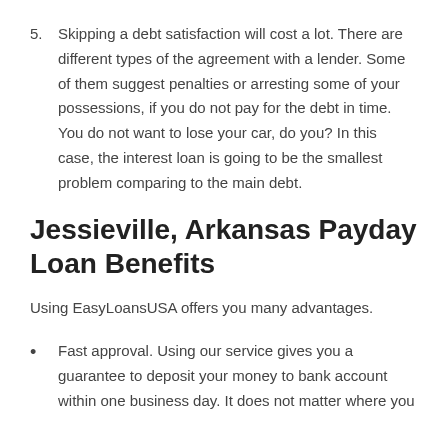5.    Skipping a debt satisfaction will cost a lot. There are different types of the agreement with a lender. Some of them suggest penalties or arresting some of your possessions, if you do not pay for the debt in time. You do not want to lose your car, do you? In this case, the interest loan is going to be the smallest problem comparing to the main debt.
Jessieville, Arkansas Payday Loan Benefits
Using EasyLoansUSA offers you many advantages.
Fast approval. Using our service gives you a guarantee to deposit your money to bank account within one business day. It does not matter where you